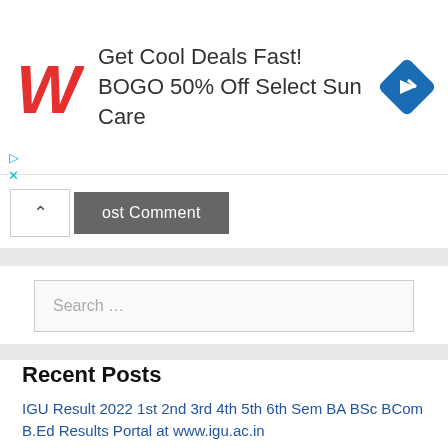[Figure (screenshot): Walgreens advertisement banner: cursive W logo in red, text 'Get Cool Deals Fast! BOGO 50% Off Select Sun Care', blue diamond arrow icon on right, with play/close controls on left]
ost Comment
Search …
Recent Posts
IGU Result 2022 1st 2nd 3rd 4th 5th 6th Sem BA BSc BCom B.Ed Results Portal at www.igu.ac.in
JAC 11th Result 2022 Date Name Wise Jharkhand Board 11th Class Results